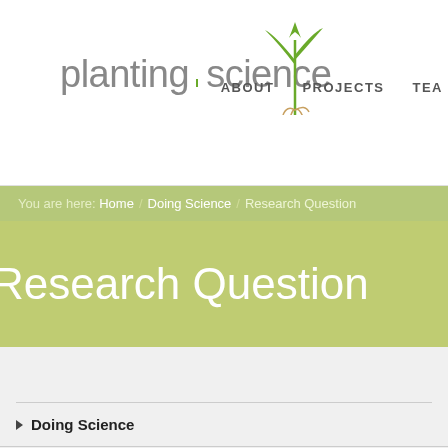[Figure (logo): PlantingScience logo with seedling graphic and navigation links: ABOUT, PROJECTS, TEA]
You are here: Home / Doing Science / Research Question
Research Question
Doing Science
Explore
Research Question